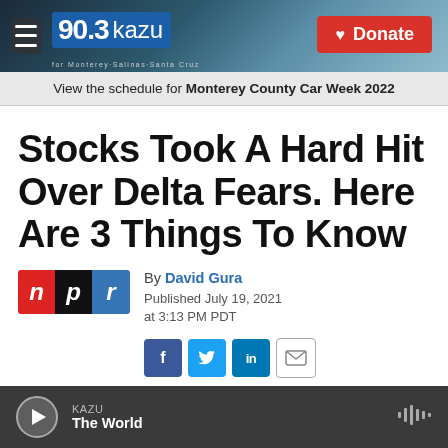90.3 KAZU | Donate
View the schedule for Monterey County Car Week 2022
Stocks Took A Hard Hit Over Delta Fears. Here Are 3 Things To Know
By David Gura
Published July 19, 2021 at 3:13 PM PDT
KAZU The World